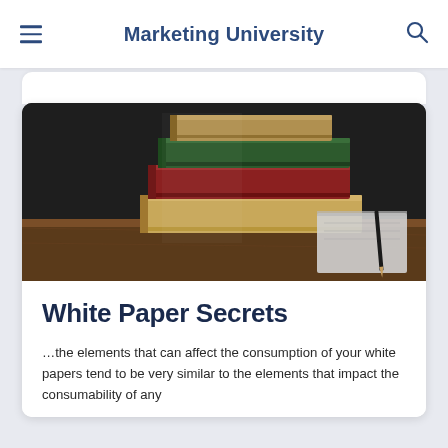Marketing University
[Figure (photo): Stack of old hardcover books in various colors on a wooden desk with a notebook and pen, against a dark chalkboard background]
White Paper Secrets
…the elements that can affect the consumption of your white papers tend to be very similar to the elements that impact the consumability of any